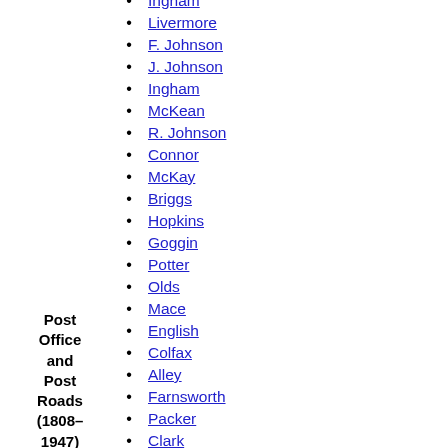Ingham
Livermore
F. Johnson
J. Johnson
Ingham
McKean
R. Johnson
Connor
McKay
Briggs
Hopkins
Goggin
Potter
Olds
Mace
English
Colfax
Alley
Farnsworth
Packer
Clark
Waddell
Money
Bingham
Money
Post Office and Post Roads (1808–1947)